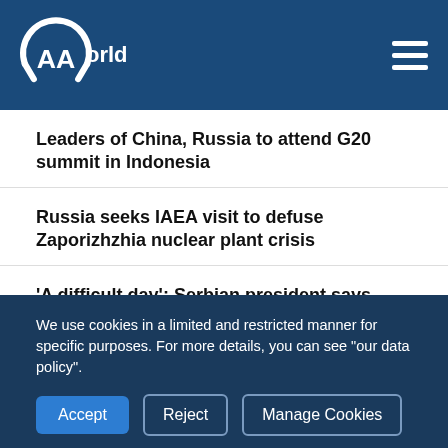AA World
Leaders of China, Russia to attend G20 summit in Indonesia
Russia seeks IAEA visit to defuse Zaporizhzhia nuclear plant crisis
'A difficult day': Serbian president says after meeting Kosovo's prime minister
We use cookies in a limited and restricted manner for specific purposes. For more details, you can see "our data policy".